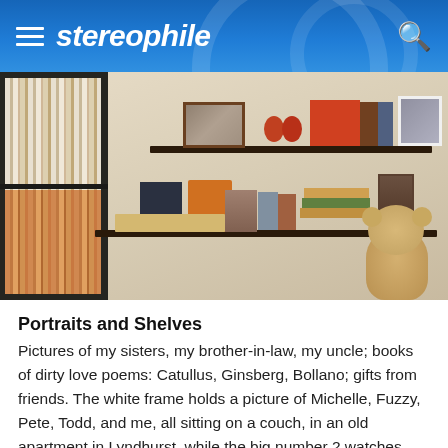stereophile
[Figure (photo): Interior room photo showing a record/vinyl collection on a dark shelving unit on the left, two dark wall-mounted shelves displaying framed photos, books, decorative items, and a small teddy bear in the bottom right corner.]
Portraits and Shelves
Pictures of my sisters, my brother-in-law, my uncle; books of dirty love poems: Catullus, Ginsberg, Bollano; gifts from friends. The white frame holds a picture of Michelle, Fuzzy, Pete, Todd, and me, all sitting on a couch, in an old apartment in Lyndhurst, while the big number 2 watches over us. To the right